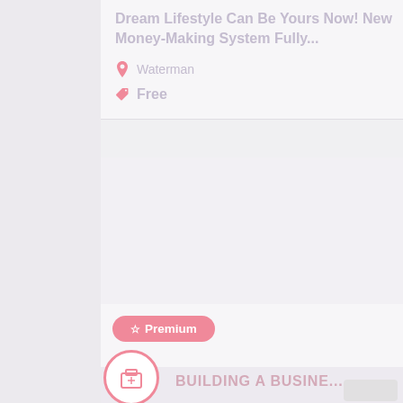Dream Lifestyle Can Be Yours Now! New Money-Making System Fully...
Waterman
Free
[Figure (other): Premium badge button - pink rounded rectangle with star icon and text 'Premium']
[Figure (other): Circular pink-bordered icon with a thumbs-up/briefcase glyph inside]
BUILDING A BUSINE...